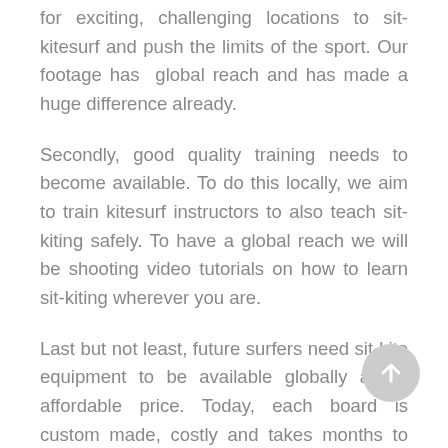for exciting, challenging locations to sit-kitesurf and push the limits of the sport. Our footage has  global reach and has made a huge difference already.
Secondly, good quality training needs to become available. To do this locally, we aim to train kitesurf instructors to also teach sit-kiting safely. To have a global reach we will be shooting video tutorials on how to learn sit-kiting wherever you are.
Last but not least, future surfers need sit-kite equipment to be available globally at an affordable price. Today, each board is custom made, costly and takes months to produce. With the help of Slingshot we can give these